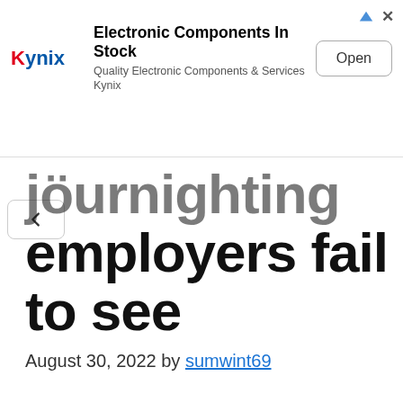[Figure (other): Kynix advertisement banner with logo, headline 'Electronic Components In Stock', subtext 'Quality Electronic Components & Services Kynix', and an Open button]
…journighting employers fail to see
August 30, 2022 by sumwint69